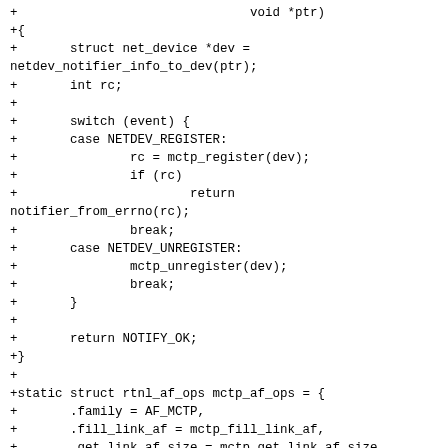[Figure (other): Code diff showing C source code additions for MCTP network device notifier and rtnl_af_ops struct initialization]